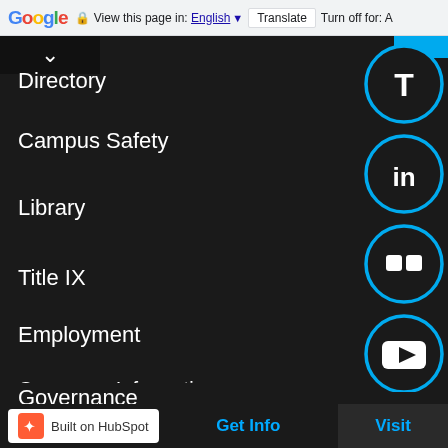[Figure (screenshot): Google Translate toolbar at top of page showing Google logo, 'View this page in: English [dropdown] Translate | Turn off for: A']
Directory
Campus Safety
Library
Title IX
Employment
Consumer Information
Register to Vote
Compliments & Complaints
Governance
[Figure (screenshot): Social media icons: Twitter/T (blue partial), LinkedIn (in), Flickr (two dots), YouTube (play button) — circular cyan-outlined icons on dark background]
Built on HubSpot   Get Info   Visit